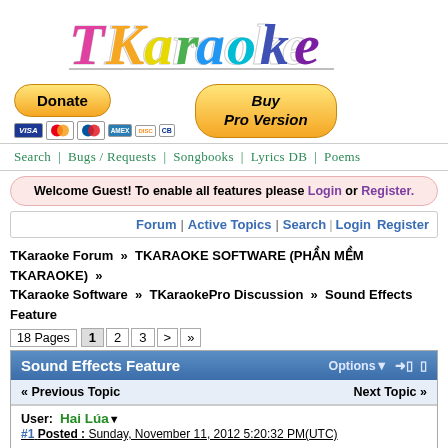[Figure (logo): TKaraoke colorful stylized logo text]
[Figure (infographic): PayPal Donate button and Buy Pro Version button with credit card icons (Visa, Mastercard, Maestro, Amex, Discover, CB)]
Search | Bugs / Requests | Songbooks | Lyrics DB | Poems
Welcome Guest! To enable all features please Login or Register.
Forum | Active Topics | Search | Login | Register
TKaraoke Forum » TKARAOKE SOFTWARE (PHẦN MỀM TKARAOKE) » TKaraoke Software » TKaraokePro Discussion » Sound Effects Feature
18 Pages  1  2  3  >  »
Sound Effects Feature
« Previous Topic    Next Topic »
User:  Hai Lúa
#1 Posted : Sunday, November 11, 2012 5:20:32 PM(UTC)
Starting with v1.5.043, TKaraokePro will support sound effects using VST Plugins. This feature comes with lot of features as the user can config their